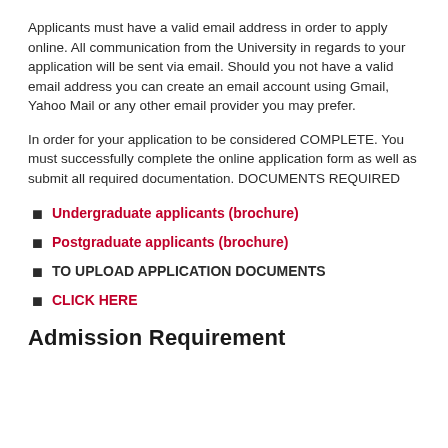Applicants must have a valid email address in order to apply online. All communication from the University in regards to your application will be sent via email. Should you not have a valid email address you can create an email account using Gmail, Yahoo Mail or any other email provider you may prefer.
In order for your application to be considered COMPLETE. You must successfully complete the online application form as well as submit all required documentation. DOCUMENTS REQUIRED
Undergraduate applicants (brochure)
Postgraduate applicants (brochure)
TO UPLOAD APPLICATION DOCUMENTS
CLICK HERE
Admission Requirement